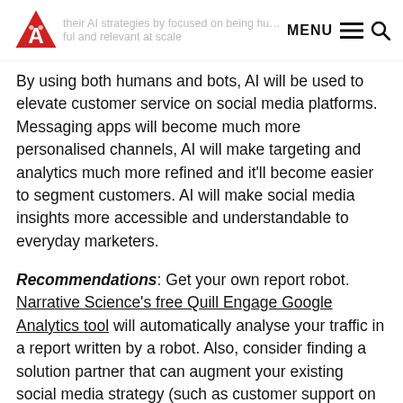their AI strategies by focused on being human … ful and relevant at scale   MENU
By using both humans and bots, AI will be used to elevate customer service on social media platforms. Messaging apps will become much more personalised channels, AI will make targeting and analytics much more refined and it'll become easier to segment customers. AI will make social media insights more accessible and understandable to everyday marketers.
Recommendations: Get your own report robot. Narrative Science's free Quill Engage Google Analytics tool will automatically analyse your traffic in a report written by a robot. Also, consider finding a solution partner that can augment your existing social media strategy (such as customer support on Facebook) with AI technology.